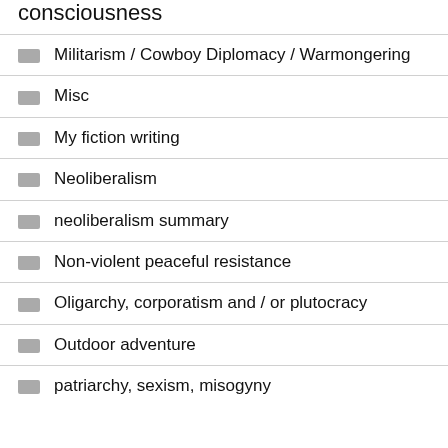consciousness
Militarism / Cowboy Diplomacy / Warmongering
Misc
My fiction writing
Neoliberalism
neoliberalism summary
Non-violent peaceful resistance
Oligarchy, corporatism and / or plutocracy
Outdoor adventure
patriarchy, sexism, misogyny